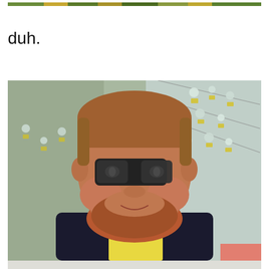[Figure (photo): Partial top strip of an outdoor photo, appears to show greenery and yellow elements]
duh.
[Figure (photo): Young man with short reddish-brown hair and a red beard, wearing dark sunglasses, a black sweater over a blue gingham shirt with a gold tie, holding a yellow card/envelope. Background shows decorative display with small yellow tags clipped to strings with white floral elements.]